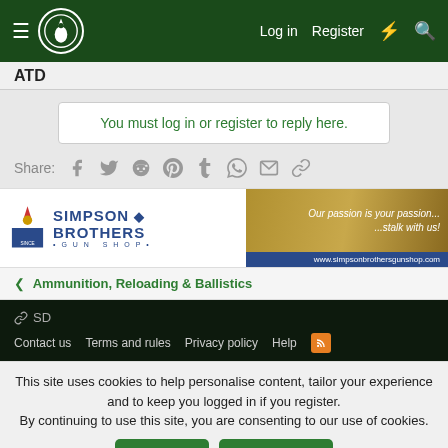ATD | Log in | Register
ATD
You must log in or register to reply here.
Share:
[Figure (other): Simpson Brothers Gun Shop advertisement banner]
Ammunition, Reloading & Ballistics
SD | Contact us | Terms and rules | Privacy policy | Help
This site uses cookies to help personalise content, tailor your experience and to keep you logged in if you register. By continuing to use this site, you are consenting to our use of cookies.